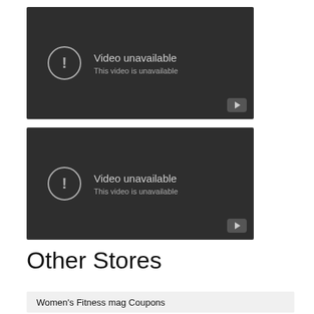[Figure (screenshot): Video unavailable placeholder with dark background, exclamation icon, text 'Video unavailable' and 'This video is unavailable', and a YouTube play button in the bottom right corner. First video block.]
[Figure (screenshot): Video unavailable placeholder with dark background, exclamation icon, text 'Video unavailable' and 'This video is unavailable', and a YouTube play button in the bottom right corner. Second video block.]
Other Stores
Women's Fitness mag Coupons